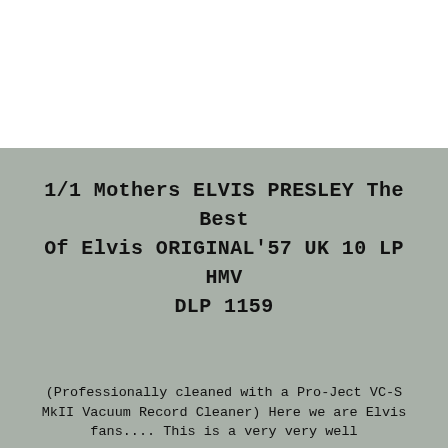1/1 Mothers ELVIS PRESLEY The Best Of Elvis ORIGINAL'57 UK 10 LP HMV DLP 1159
(Professionally cleaned with a Pro-Ject VC-S MkII Vacuum Record Cleaner) Here we are Elvis fans.... This is a very very well